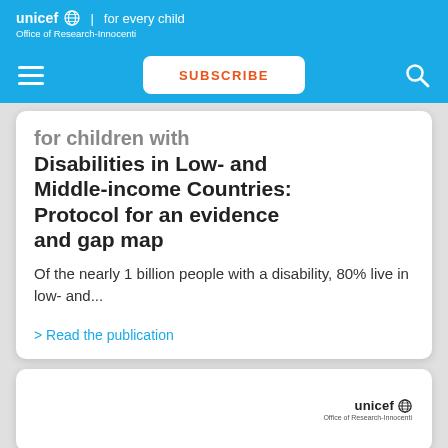unicef | for every child
Office of Research-Innocenti
[Figure (screenshot): UNICEF navigation bar with hamburger menu, SUBSCRIBE button, and search icon on blue background]
for children with Disabilities in Low- and Middle-income Countries: Protocol for an evidence and gap map
Of the nearly 1 billion people with a disability, 80% live in low- and...
> Read the publication
[Figure (logo): unicef Office of Research-Innocenti logo on white card (partial, bottom of page)]